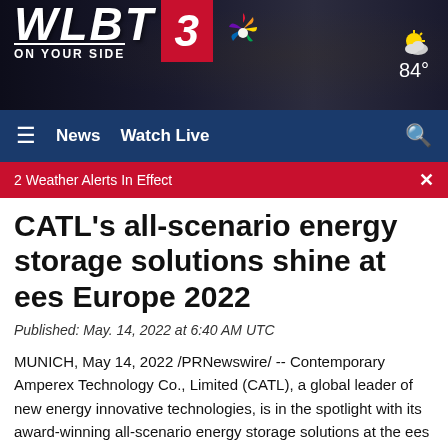[Figure (screenshot): WLBT 3 News station logo header banner with dark background showing capitol building silhouette, weather showing sun/cloud icon and 84°]
WLBT 3 ON YOUR SIDE | News | Watch Live | 84°
2 Weather Alerts In Effect
CATL's all-scenario energy storage solutions shine at ees Europe 2022
Published: May. 14, 2022 at 6:40 AM UTC
MUNICH, May 14, 2022 /PRNewswire/ -- Contemporary Amperex Technology Co., Limited (CATL), a global leader of new energy innovative technologies, is in the spotlight with its award-winning all-scenario energy storage solutions at the ees Europe 2022, the largest and most